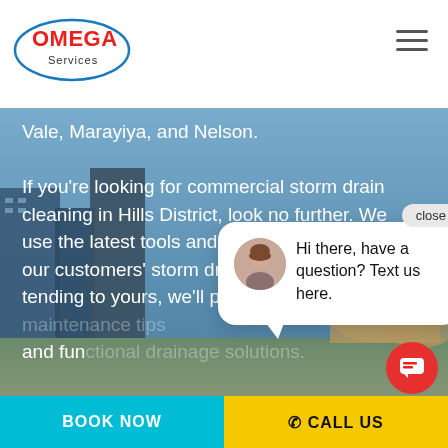[Figure (logo): Omega Services logo with red OMEGA text and blue oval ellipse]
Vale, Marayiya, and Nelson.
If you're looking for commercial storm drain cleaning in Hills District, look no further. We use the latest tools and technologies to keep our customers' storm drains clean. After tending to yours, we'll provide y... and fun...
When it ... blocked sewers in Hills District, sometimes the project is a big one. To learn more, ca...
[Figure (screenshot): Chat popup with avatar photo of woman and text: Hi there, have a question? Text us here. With a close button.]
BOOK NOW   CALL US